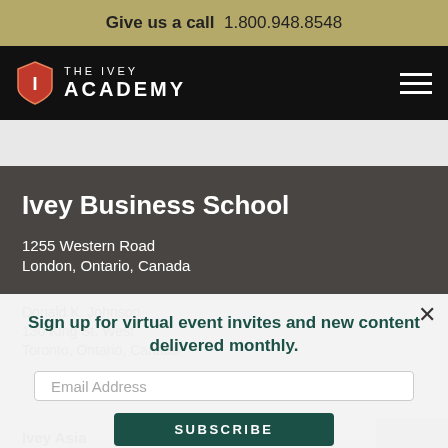Give us a call  1.800.948.8548
[Figure (logo): The Ivey Academy shield logo with nav bar and hamburger menu on black background]
Ivey Business School
1255 Western Road
London, Ontario, Canada
Sign up for virtual event invites and new content delivered monthly.
Email Address
SUBSCRIBE
Donald K. Johnson
130 King St. West
Toronto, Ontario, Canada
Ivey Asia